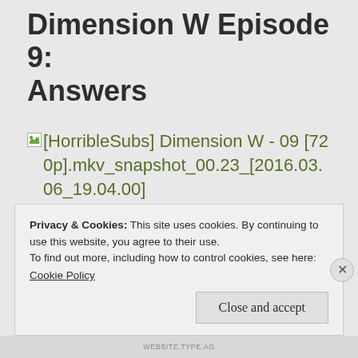Dimension W Episode 9: Answers
[Figure (photo): Broken image placeholder link reading: [HorribleSubs] Dimension W - 09 [720p].mkv_snapshot_00.23_[2016.03.06_19.04.00]]
Privacy & Cookies: This site uses cookies. By continuing to use this website, you agree to their use.
To find out more, including how to control cookies, see here:
Cookie Policy
WEBSITE.TYPE.AG